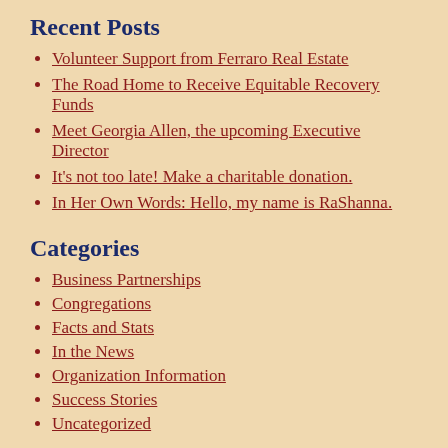Recent Posts
Volunteer Support from Ferraro Real Estate
The Road Home to Receive Equitable Recovery Funds
Meet Georgia Allen, the upcoming Executive Director
It's not too late! Make a charitable donation.
In Her Own Words: Hello, my name is RaShanna.
Categories
Business Partnerships
Congregations
Facts and Stats
In the News
Organization Information
Success Stories
Uncategorized